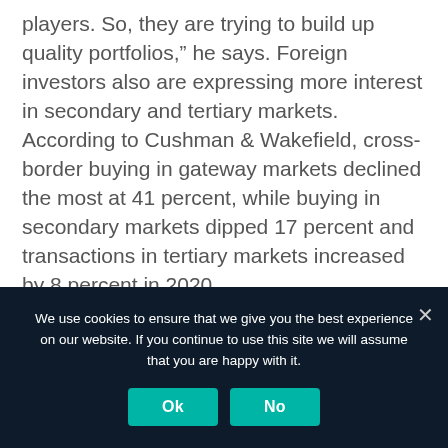players. So, they are trying to build up quality portfolios,” he says. Foreign investors also are expressing more interest in secondary and tertiary markets. According to Cushman & Wakefield, cross-border buying in gateway markets declined the most at 41 percent, while buying in secondary markets dipped 17 percent and transactions in tertiary markets increased by 8 percent in 2020.
“When you talk to these investors, they believe in cities long term, including New York and San Francisco, etc. etc. But they also
We use cookies to ensure that we give you the best experience on our website. If you continue to use this site we will assume that you are happy with it.